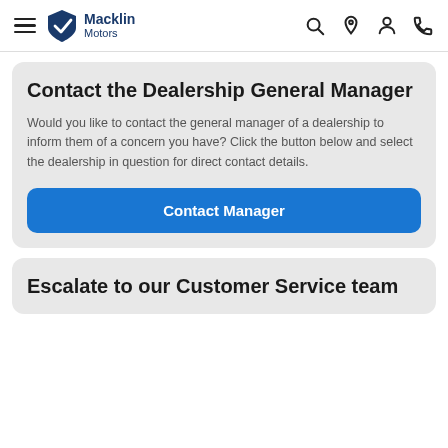Macklin Motors
Contact the Dealership General Manager
Would you like to contact the general manager of a dealership to inform them of a concern you have? Click the button below and select the dealership in question for direct contact details.
Contact Manager
Escalate to our Customer Service team